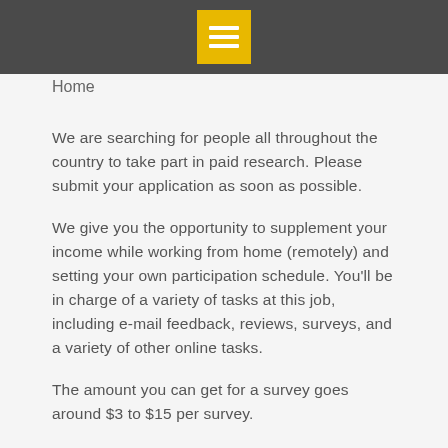Home
We are searching for people all throughout the country to take part in paid research. Please submit your application as soon as possible.
We give you the opportunity to supplement your income while working from home (remotely) and setting your own participation schedule. You'll be in charge of a variety of tasks at this job, including e-mail feedback, reviews, surveys, and a variety of other online tasks.
The amount you can get for a survey goes around $3 to $15 per survey.
Requirements for Legit Work From Home
Able to access the internet
Must be willing to work without any